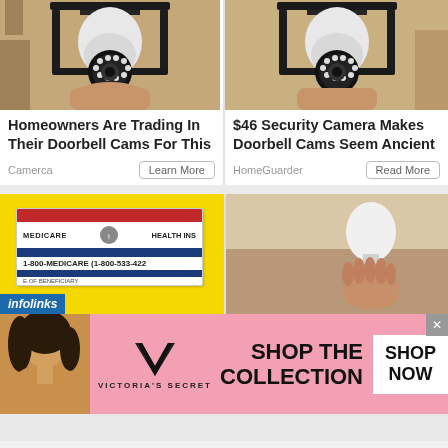[Figure (photo): Security camera in a wall lantern fixture, left card]
Homeowners Are Trading In Their Doorbell Cams For This
Camerca
Learn More
[Figure (photo): Security camera in a wall lantern fixture, right card]
$46 Security Camera Makes Doorbell Cams Seem Ancient
HomeGuarder
Read More
[Figure (photo): Medicare card on yellow background with infolinks badge]
[Figure (photo): Hand holding a white light bulb]
[Figure (advertisement): Victoria's Secret banner ad: SHOP THE COLLECTION with SHOP NOW button and woman photo]
SHOP THE COLLECTION
VICTORIA'S SECRET
SHOP NOW